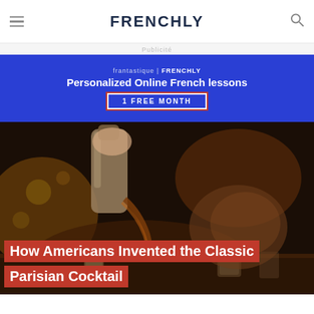FRENCHLY
Publicité
[Figure (infographic): Blue advertisement banner for frantastique | FRENCHLY Personalized Online French lessons with 1 FREE MONTH button]
[Figure (photo): A bartender pouring a cocktail from a shaker into glasses on a bar counter, warm amber tones with bokeh background]
How Americans Invented the Classic Parisian Cocktail